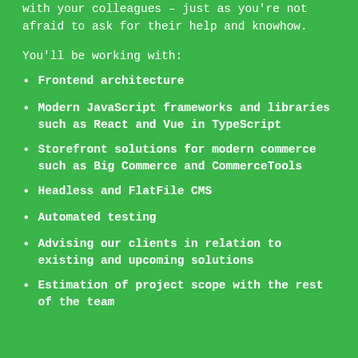with your colleagues – just as you're not afraid to ask for their help and knowhow.
You'll be working with:
Frontend architecture
Modern JavaScript frameworks and libraries such as React and Vue in TypeScript
Storefront solutions for modern commerce such as Big Commerce and CommerceTools
Headless and FlatFile CMS
Automated testing
Advising our clients in relation to existing and upcoming solutions
Estimation of project scope with the rest of the team